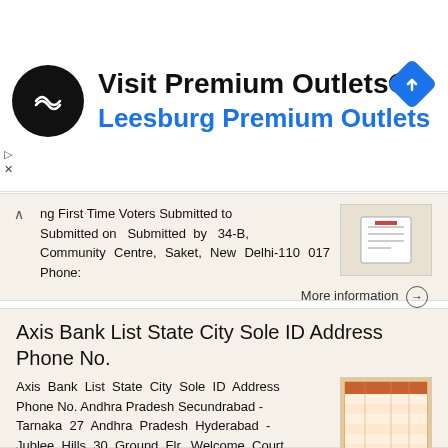[Figure (infographic): Advertisement banner for Visit Premium Outlets / Leesburg Premium Outlets with circular black logo and blue navigation diamond icon]
ng First Time Voters Submitted to Submitted on Submitted by 34-B, Community Centre, Saket, New Delhi-110 017 Phone:
More information →
Axis Bank List State City Sole ID Address Phone No.
Axis Bank List State City Sole ID Address Phone No. Andhra Pradesh Secundrabad - Tarnaka 27 Andhra Pradesh Hyderabad - Jublee Hills 30 Ground Flr, Welcome Court Complex, Opp. Railway Degree College, Tarnaka
More information →